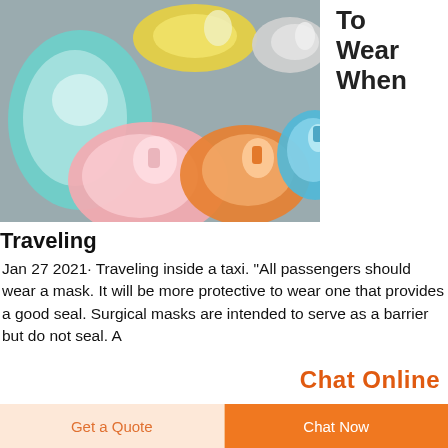[Figure (photo): Multiple colorful CPR/oxygen face masks (teal, yellow, white, pink, orange, blue) laid out on a gray surface]
To Wear When
Traveling
Jan 27 2021· Traveling inside a taxi. "All passengers should wear a mask. It will be more protective to wear one that provides a good seal. Surgical masks are intended to serve as a barrier but do not seal. A
Chat Online
Get a Quote
Chat Now